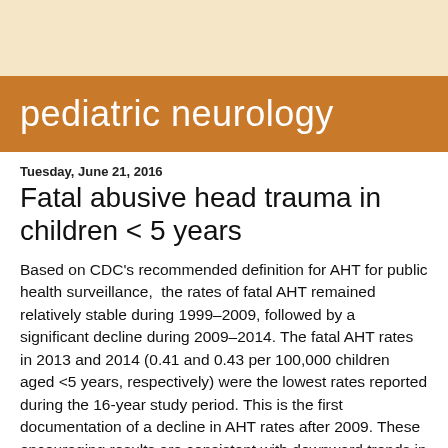pediatric neurology
Tuesday, June 21, 2016
Fatal abusive head trauma in children < 5 years
Based on CDC's recommended definition for AHT for public health surveillance,  the rates of fatal AHT remained relatively stable during 1999–2009, followed by a significant decline during 2009–2014. The fatal AHT rates in 2013 and 2014 (0.41 and 0.43 per 100,000 children aged <5 years, respectively) were the lowest rates reported during the 16-year study period. This is the first documentation of a decline in AHT rates after 2009. These encouraging results are consistent with downward trends in other indices of child maltreatment and data systems, such as the recent analysis by the Children's Bureau of the National Data Archive on Child Abuse and Neglect, which found that the number of